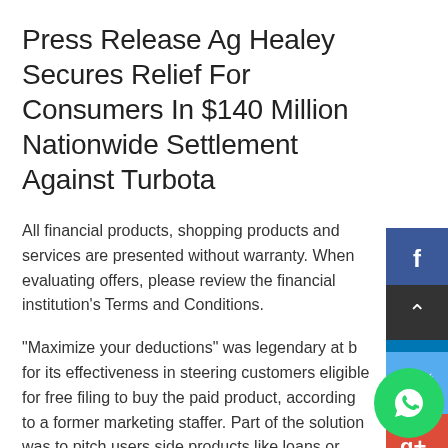Press Release Ag Healey Secures Relief For Consumers In $140 Million Nationwide Settlement Against Turbota
All financial products, shopping products and services are presented without warranty. When evaluating offers, please review the financial institution's Terms and Conditions.
“Maximize your deductions” was legendary at b for its effectiveness in steering customers eligible for free filing to buy the paid product, according to a former marketing staffer. Part of the solution was to pitch users side products like loans or “Audit Defense.” But it also meant misleading custo Many who started in TurboTax Free Edition that if their return required certain commonplace